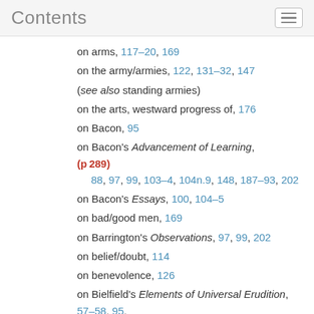Contents
on arms, 117–20, 169
on the army/armies, 122, 131–32, 147
(see also standing armies)
on the arts, westward progress of, 176
on Bacon, 95
on Bacon's Advancement of Learning, (p289) 88, 97, 99, 103–4, 104n.9, 148, 187–93, 202
on Bacon's Essays, 100, 104–5
on bad/good men, 169
on Barrington's Observations, 97, 99, 202
on belief/doubt, 114
on benevolence, 126
on Bielfield's Elements of Universal Erudition, 57–58, 95, 100, 113–15, 203
on Bolingbroke, 48, 84–85, 85n, 149, 156–59
on bondage, 159–60, 164